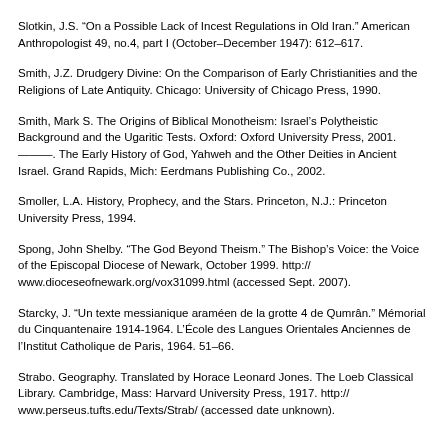Slotkin, J.S. “On a Possible Lack of Incest Regulations in Old Iran.” American Anthropologist 49, no.4, part I (October–December 1947): 612–617.
Smith, J.Z. Drudgery Divine: On the Comparison of Early Christianities and the Religions of Late Antiquity. Chicago: University of Chicago Press, 1990.
Smith, Mark S. The Origins of Biblical Monotheism: Israel’s Polytheistic Background and the Ugaritic Tests. Oxford: Oxford University Press, 2001. ———. The Early History of God, Yahweh and the Other Deities in Ancient Israel. Grand Rapids, Mich: Eerdmans Publishing Co., 2002.
Smoller, L.A. History, Prophecy, and the Stars. Princeton, N.J.: Princeton University Press, 1994.
Spong, John Shelby. “The God Beyond Theism.” The Bishop’s Voice: the Voice of the Episcopal Diocese of Newark, October 1999. http://www.dioceseofnewark.org/vox31099.html (accessed Sept. 2007).
Starcky, J. “Un texte messianique araméen de la grotte 4 de Qumrân.” Mémorial du Cinquantenaire 1914-1964. L’École des Langues Orientales Anciennes de l’Institut Catholique de Paris, 1964. 51–66.
Strabo. Geography. Translated by Horace Leonard Jones. The Loeb Classical Library. Cambridge, Mass: Harvard University Press, 1917. http://www.perseus.tufts.edu/Texts/Strab/ (accessed date unknown).